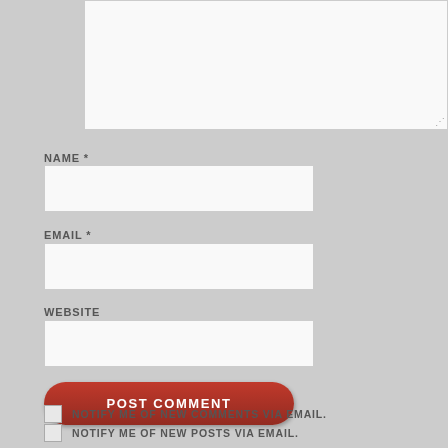[Figure (screenshot): Comment form textarea (top portion visible, cropped at top)]
NAME *
[Figure (screenshot): Name input field (empty white text box)]
EMAIL *
[Figure (screenshot): Email input field (empty white text box)]
WEBSITE
[Figure (screenshot): Website input field (empty white text box)]
POST COMMENT
NOTIFY ME OF NEW COMMENTS VIA EMAIL.
NOTIFY ME OF NEW POSTS VIA EMAIL.